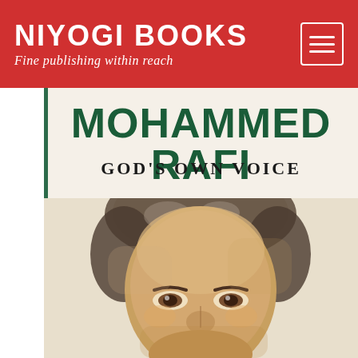NIYOGI BOOKS
Fine publishing within reach
MOHAMMED RAFI
GOD'S OWN VOICE
[Figure (illustration): Watercolor portrait painting of Mohammed Rafi, showing his face and upper head with warm earthy tones, dark hair, and expressive eyes.]